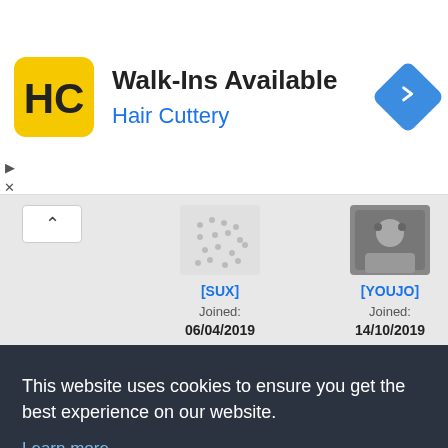[Figure (screenshot): Ad banner for Hair Cuttery showing logo, 'Walk-Ins Available' title, 'Hair Cuttery' subtitle, and a blue diamond navigation arrow icon]
[Figure (screenshot): Website user listing showing two user cards: [SUX] Joined 06/04/2019 and [YOUJO] Joined 14/10/2019, with avatar images and partial second row below]
This website uses cookies to ensure you get the best experience on our website.
Learn more
Got it!
Joined:
Joined: